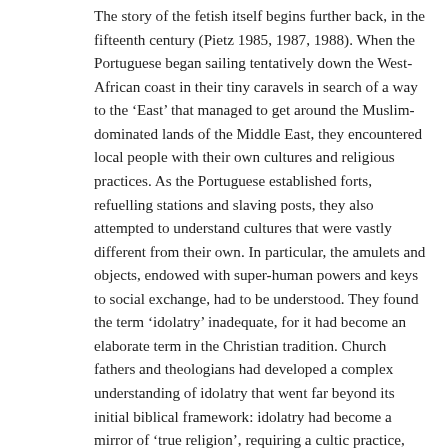The story of the fetish itself begins further back, in the fifteenth century (Pietz 1985, 1987, 1988). When the Portuguese began sailing tentatively down the West-African coast in their tiny caravels in search of a way to the ‘East’ that managed to get around the Muslim-dominated lands of the Middle East, they encountered local people with their own cultures and religious practices. As the Portuguese established forts, refuelling stations and slaving posts, they also attempted to understand cultures that were vastly different from their own. In particular, the amulets and objects, endowed with super-human powers and keys to social exchange, had to be understood. They found the term ‘idolatry’ inadequate, for it had become an elaborate term in the Christian tradition. Church fathers and theologians had developed a complex understanding of idolatry that went far beyond its initial biblical framework: idolatry had become a mirror of ‘true religion’, requiring a cultic practice, institutional structure, clergy, sacred objects, architecture and tradition.
This understanding of idolatry seemed not to apply to the practices of the West Africans. Instead, the Portuguese